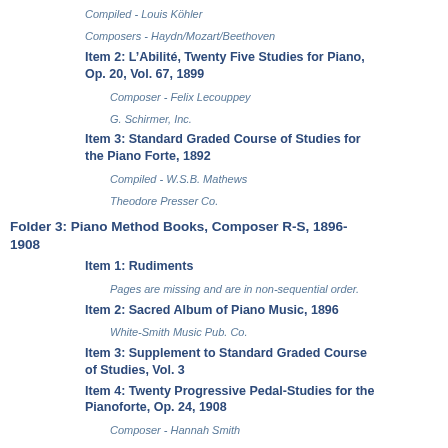Compiled - Louis Köhler
Composers - Haydn/Mozart/Beethoven
Item 2: L'Agilité, Twenty Five Studies for Piano, Op. 20, Vol. 67, 1899
Composer  - Felix Lecouppey
G. Schirmer, Inc.
Item 3: Standard Graded Course of Studies for the Piano Forte, 1892
Compiled - W.S.B. Mathews
Theodore Presser Co.
Folder 3: Piano Method Books, Composer R-S, 1896-1908
Item 1: Rudiments
Pages are missing and are in non-sequential order.
Item 2: Sacred Album of Piano Music, 1896
White-Smith Music Pub. Co.
Item 3: Supplement to Standard Graded Course of Studies, Vol. 3
Item 4: Twenty Progressive Pedal-Studies for the Pianoforte, Op. 24, 1908
Composer - Hannah Smith